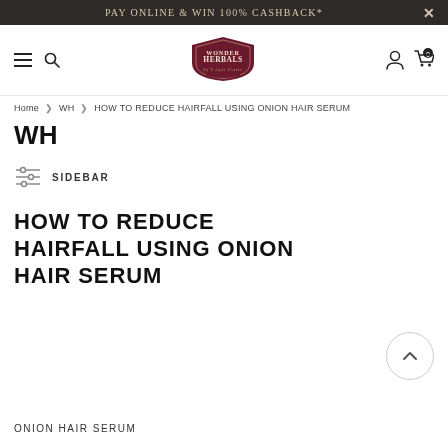PAY ONLINE & WIN 100% CASHBACK*
[Figure (logo): Wonder Herbals logo - shield/crest shape in dark maroon with decorative serif text]
Home > WH > HOW TO REDUCE HAIRFALL USING ONION HAIR SERUM
WH
SIDEBAR
HOW TO REDUCE HAIRFALL USING ONION HAIR SERUM
ONION HAIR SERUM